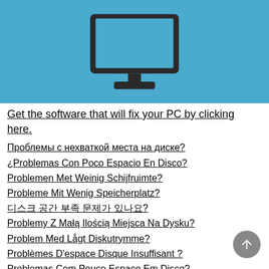[Figure (illustration): Blue banner with dark monitor/computer icon centered on it]
Get the software that will fix your PC by clicking here.
Проблемы с нехваткой места на диске?
¿Problemas Con Poco Espacio En Disco?
Problemen Met Weinig Schijfruimte?
Probleme Mit Wenig Speicherplatz?
디스크 공간 부족 문제가 있나요?
Problemy Z Małą Ilością Miejsca Na Dysku?
Problem Med Lågt Diskutrymme?
Problèmes D'espace Disque Insuffisant ?
Problemas Com Pouco Espaço Em Disco?